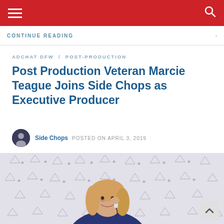CONTINUE READING
ADCHAT DFW / POST-PRODUCTION
Post Production Veteran Marcie Teague Joins Side Chops as Executive Producer
Side Chops  POSTED ON APRIL 3, 2019
[Figure (photo): Woman with blonde hair smiling and holding a phone to her ear, seated in front of a patterned wallpaper with small triangular/floral shapes in blue and white]